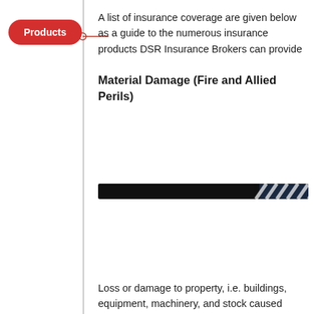Products
A list of insurance coverage are given below as a guide to the numerous insurance products DSR Insurance Brokers can provide
Material Damage (Fire and Allied Perils)
[Figure (other): Decorative diagonal striped banner/divider bar in black and dark navy with white diagonal stripes on the right end]
Loss or damage to property, i.e. buildings, equipment, machinery, and stock caused